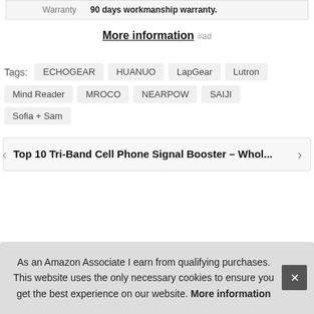|  |  |
| --- | --- |
| Warranty | 90 days workmanship warranty. |
More information #ad
Tags: ECHOGEAR  HUANUO  LapGear  Lutron  Mind Reader  MROCO  NEARPOW  SAIJI  Sofia + Sam
Top 10 Tri-Band Cell Phone Signal Booster – Whol...
As an Amazon Associate I earn from qualifying purchases. This website uses the only necessary cookies to ensure you get the best experience on our website. More information